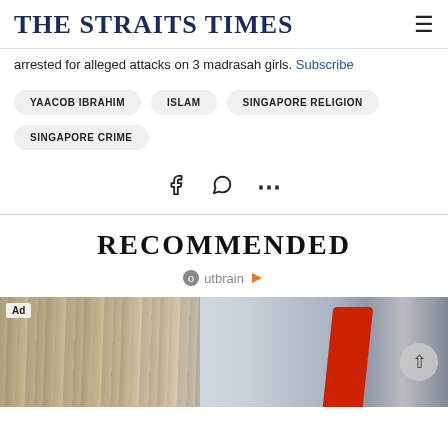THE STRAITS TIMES
arrested for alleged attacks on 3 madrasah girls. Subscribe
YAACOB IBRAHIM
ISLAM
SINGAPORE RELIGION
SINGAPORE CRIME
[Figure (other): Social share icons: Facebook, WhatsApp, more (ellipsis)]
RECOMMENDED
Outbrain sponsored content logo
[Figure (photo): Advertisement image showing a building exterior with wood texture on left and a red rectangular object on right against a cloudy sky, with an Ad badge in the top left corner]